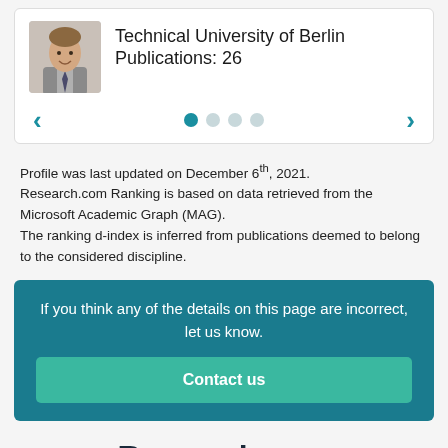[Figure (photo): Profile photo of a smiling young man in a suit with a tie]
Technical University of Berlin
Publications: 26
[Figure (infographic): Carousel navigation with left arrow, four dots (first active), and right arrow]
Profile was last updated on December 6th, 2021.
Research.com Ranking is based on data retrieved from the Microsoft Academic Graph (MAG).
The ranking d-index is inferred from publications deemed to belong to the considered discipline.
If you think any of the details on this page are incorrect, let us know.
Contact us
[Figure (logo): Research.com logo in dark navy and teal]